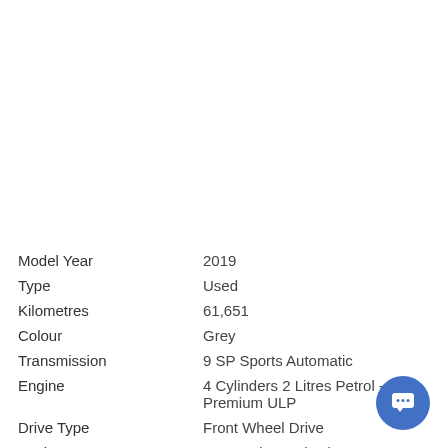| Attribute | Value |
| --- | --- |
| Model Year | 2019 |
| Type | Used |
| Kilometres | 61,651 |
| Colour | Grey |
| Transmission | 9 SP Sports Automatic |
| Engine | 4 Cylinders 2 Litres Petrol - Premium ULP |
| Drive Type | Front Wheel Drive |
| Fuel System | 4 CYL Direct Injection |
| Body | Wagon |